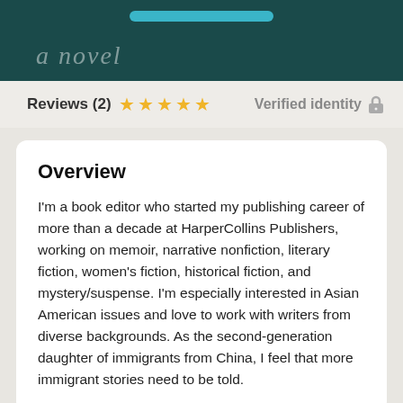[Figure (screenshot): Dark teal header banner with 'a novel' text in italic and a blue bar at top]
Reviews (2) ★★★★★ Verified identity 🔒
Overview
I'm a book editor who started my publishing career of more than a decade at HarperCollins Publishers, working on memoir, narrative nonfiction, literary fiction, women's fiction, historical fiction, and mystery/suspense. I'm especially interested in Asian American issues and love to work with writers from diverse backgrounds. As the second-generation daughter of immigrants from China, I feel that more immigrant stories need to be told.